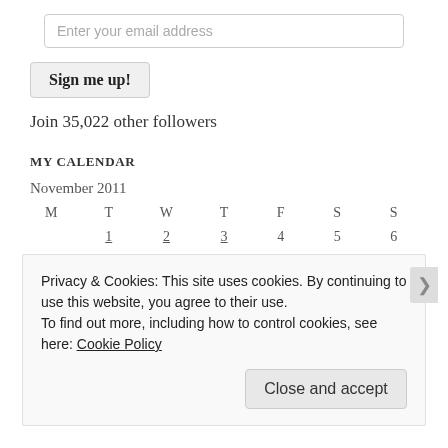Enter your email address
Sign me up!
Join 35,022 other followers
MY CALENDAR
November 2011
| M | T | W | T | F | S | S |
| --- | --- | --- | --- | --- | --- | --- |
|  | 1 | 2 | 3 | 4 | 5 | 6 |
Privacy & Cookies: This site uses cookies. By continuing to use this website, you agree to their use.
To find out more, including how to control cookies, see here: Cookie Policy
Close and accept